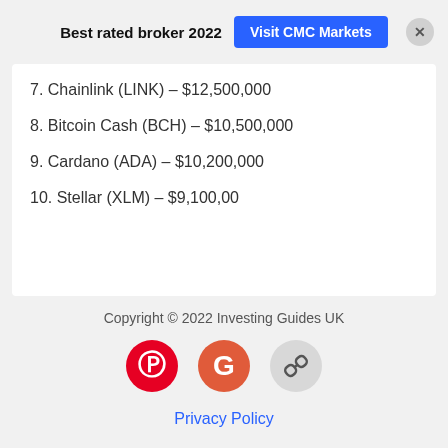Best rated broker 2022  Visit CMC Markets
7. Chainlink (LINK) – $12,500,000
8. Bitcoin Cash (BCH) – $10,500,000
9. Cardano (ADA) – $10,200,000
10. Stellar (XLM) – $9,100,00
Copyright © 2022 Investing Guides UK
Privacy Policy